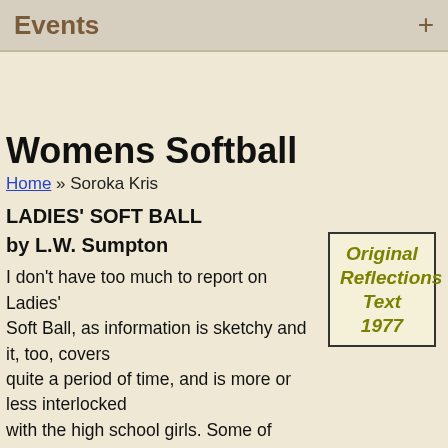Events +
Womens Softball
Home » Soroka Kris
LADIES' SOFT BALL
by L.W. Sumpton
[Figure (other): Box stamped 'Original Reflections Text 1977' in olive/yellow-green bold italic text with black border]
I don't have too much to report on Ladies' Soft Ball, as information is sketchy and it, too, covers quite a period of time, and is more or less interlocked with the high school girls. Some of these players were really talented and, had they been men, could